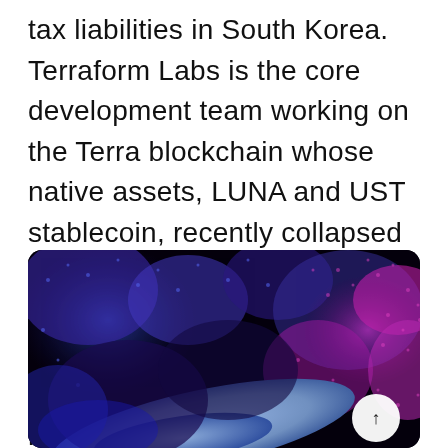tax liabilities in South Korea. Terraform Labs is the core development team working on the Terra blockchain whose native assets, LUNA and UST stablecoin, recently collapsed after a bank run that wiped out billions of dollars of value .  A recent media report suggested that authorities in Korea were investigating Kwon and Terraform Labs in more than $78 million in unpaid corporate ...
[Figure (photo): Dark abstract digital illustration with blue, purple, and magenta colors showing fragmented shapes and textures on a black background, with light blue oval shapes in the lower center.]